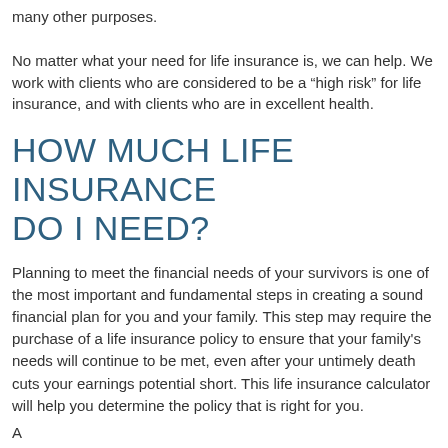many other purposes.
No matter what your need for life insurance is, we can help. We work with clients who are considered to be a “high risk” for life insurance, and with clients who are in excellent health.
HOW MUCH LIFE INSURANCE DO I NEED?
Planning to meet the financial needs of your survivors is one of the most important and fundamental steps in creating a sound financial plan for you and your family. This step may require the purchase of a life insurance policy to ensure that your family's needs will continue to be met, even after your untimely death cuts your earnings potential short. This life insurance calculator will help you determine the policy that is right for you.
A